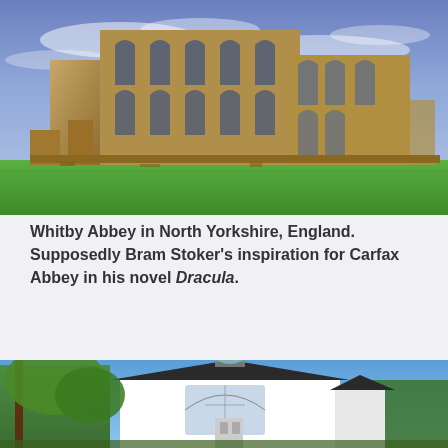[Figure (photo): Whitby Abbey ruins in North Yorkshire, England — large Gothic stone arches and walls against a dramatic blue sky with scattered clouds, green grass in foreground]
Whitby Abbey in North Yorkshire, England. Supposedly Bram Stoker's inspiration for Carfax Abbey in his novel Dracula.
[Figure (photo): A white building with a small dome/cupola and a large arched window, surrounded by green trees against a blue sky]